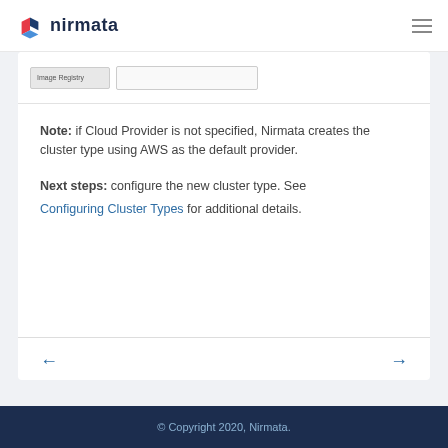nirmata
[Figure (screenshot): Partial screenshot showing a form with an image registry field and an input box]
Note: if Cloud Provider is not specified, Nirmata creates the cluster type using AWS as the default provider.
Next steps: configure the new cluster type. See Configuring Cluster Types for additional details.
© Copyright 2020, Nirmata.